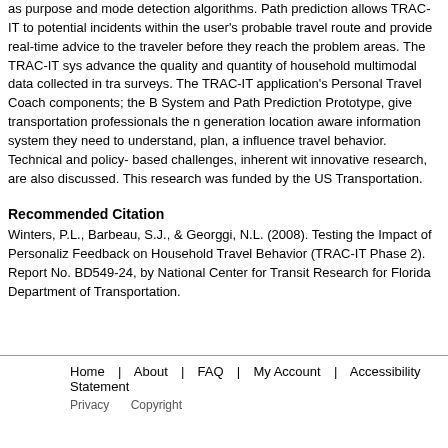as purpose and mode detection algorithms. Path prediction allows TRAC-IT to potential incidents within the user's probable travel route and provide real-time advice to the traveler before they reach the problem areas. The TRAC-IT system advance the quality and quantity of household multimodal data collected in travel surveys. The TRAC-IT application's Personal Travel Coach components; the Booking System and Path Prediction Prototype, give transportation professionals the next generation location aware information system they need to understand, plan, and influence travel behavior. Technical and policy- based challenges, inherent with this innovative research, are also discussed. This research was funded by the US Dept of Transportation.
Recommended Citation
Winters, P.L., Barbeau, S.J., & Georggi, N.L. (2008). Testing the Impact of Personalized Feedback on Household Travel Behavior (TRAC-IT Phase 2). Report No. BD549-24, prepared by National Center for Transit Research for Florida Department of Transportation.
Home | About | FAQ | My Account | Accessibility Statement  Privacy  Copyright